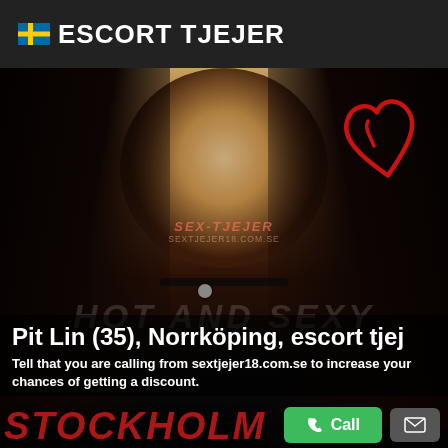ESCORT TJEJER
[Figure (photo): Portrait photo of a young woman with long dark hair and a choker necklace, face partially blurred. Background has a red heart drawing. Watermark reads SEX-TJEJER. Text overlays: HOT AND SEXY, STOCKHOLM.]
Pit Lin (35), Norrköping, escort tjej
Tell that you are calling from sextjejer18.com.se to increase your chances of getting a discount.